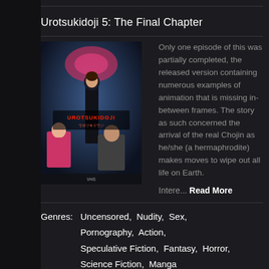Urotsukidoji 5: The Final Chapter
[Figure (illustration): Manga/anime cover art for Urotsukidoji with characters and Japanese text]
Only one episode of this was partially completed, the released version containing numerous examples of animation that is missing in-between frames. The story as such concerned the arrival of the real Chojin as he/she (a hermaphrodite) makes moves to wipe out all life on Earth.
Intere... Read More
Genres: Uncensored, Nudity, Sex, Pornography, Action, Speculative Fiction, Fantasy, Horror, Science Fiction, Manga